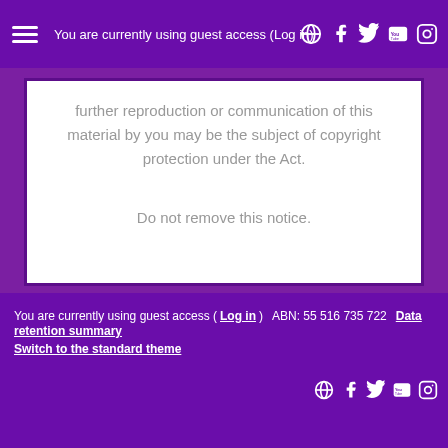You are currently using guest access (Log in)
further reproduction or communication of this material by you may be the subject of copyright protection under the Act.

Do not remove this notice.
You are currently using guest access (Log in)   ABN: 55 516 735 722   Data retention summary
Switch to the standard theme